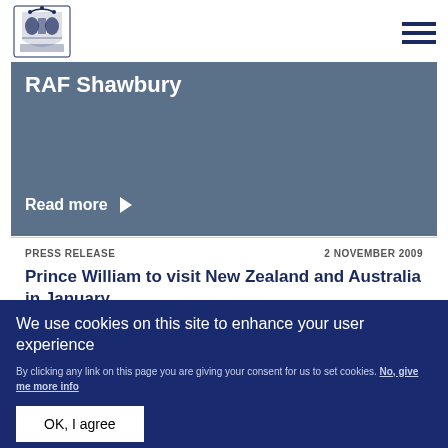[Figure (logo): Royal coat of arms crest logo in dark blue]
RAF Shawbury
Read more ▶
PRESS RELEASE   2 NOVEMBER 2009
Prince William to visit New Zealand and Australia in January
We use cookies on this site to enhance your user experience
By clicking any link on this page you are giving your consent for us to set cookies. No, give me more info
OK, I agree